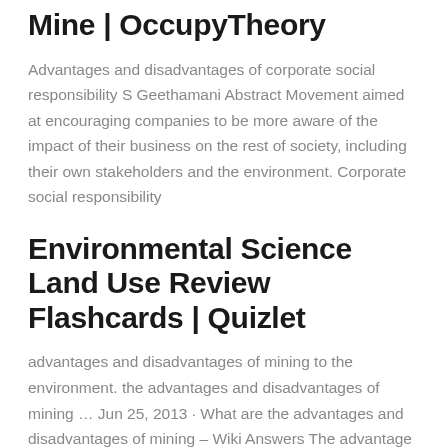Mine | OccupyTheory
Advantages and disadvantages of corporate social responsibility S Geethamani Abstract Movement aimed at encouraging companies to be more aware of the impact of their business on the rest of society, including their own stakeholders and the environment. Corporate social responsibility
Environmental Science Land Use Review Flashcards | Quizlet
advantages and disadvantages of mining to the environment. the advantages and disadvantages of mining … Jun 25, 2013 · What are the advantages and disadvantages of mining – Wiki Answers The advantage is that it supplies raw materials (metals,